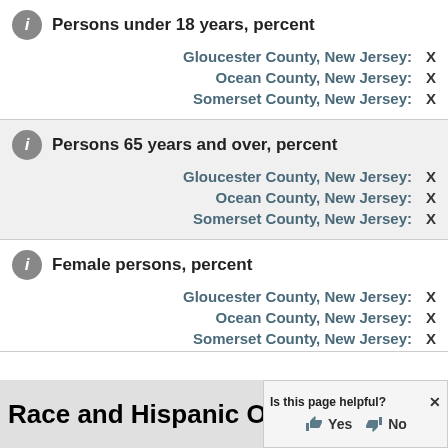Persons under 18 years, percent
Gloucester County, New Jersey: X
Ocean County, New Jersey: X
Somerset County, New Jersey: X
Persons 65 years and over, percent
Gloucester County, New Jersey: X
Ocean County, New Jersey: X
Somerset County, New Jersey: X
Female persons, percent
Gloucester County, New Jersey: X
Ocean County, New Jersey: X
Somerset County, New Jersey: X
Race and Hispanic Origin
Is this page helpful? Yes No